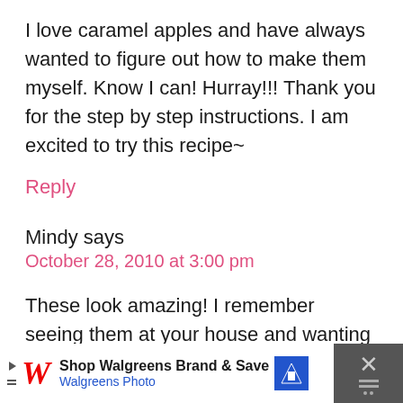I love caramel apples and have always wanted to figure out how to make them myself. Know I can! Hurray!!! Thank you for the step by step instructions. I am excited to try this recipe~
Reply
Mindy says
October 28, 2010 at 3:00 pm
These look amazing! I remember seeing them at your house and wanting them. I guess I'll just have to make my own.
[Figure (screenshot): Walgreens advertisement bar at bottom of page: Shop Walgreens Brand & Save, Walgreens Photo]